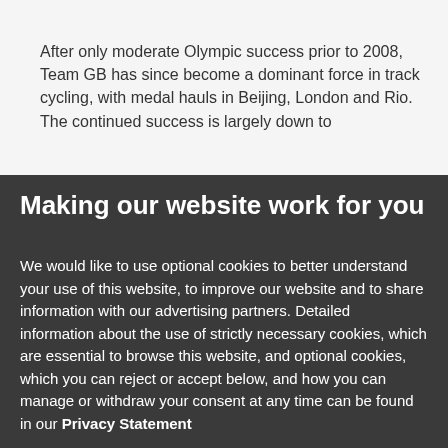After only moderate Olympic success prior to 2008, Team GB has since become a dominant force in track cycling, with medal hauls in Beijing, London and Rio. The continued success is largely down to
Making our website work for you
We would like to use optional cookies to better understand your use of this website, to improve our website and to share information with our advertising partners. Detailed information about the use of strictly necessary cookies, which are essential to browse this website, and optional cookies, which you can reject or accept below, and how you can manage or withdraw your consent at any time can be found in our Privacy Statement